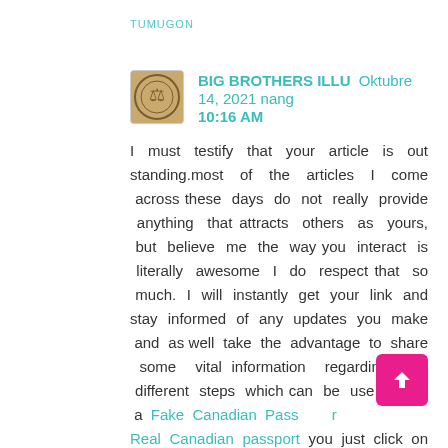TUMUGON
BIG BROTHERS ILLU Oktubre 14, 2021 nang 10:16 AM
I must testify that your article is out standing.most of the articles I come across these days do not really provide anything that attracts others as yours, but believe me the way you interact is literally awesome I do respect that so much. I will instantly get your link and stay informed of any updates you make and as well take the advantage to share some vital information regarding the different steps which can be use to get a Fake Canadian Passport or Real Canadian passport you just click on link and follow the process,I will also take the